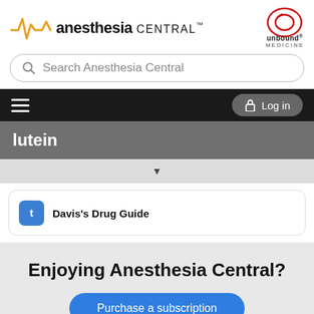[Figure (logo): Anesthesia Central logo with orange pulse/heartbeat waveform icon and bold text 'anesthesia CENTRAL™']
[Figure (logo): Unbound Medicine logo — red oval shape with 'unbound' text and 'MEDICINE' below]
Search Anesthesia Central
[Figure (screenshot): Navigation bar with hamburger menu icon on left and 'Log in' button with lock icon on right, dark background]
lutein
Davis's Drug Guide
Enjoying Anesthesia Central?
Purchase a subscription
I'm already a subscriber